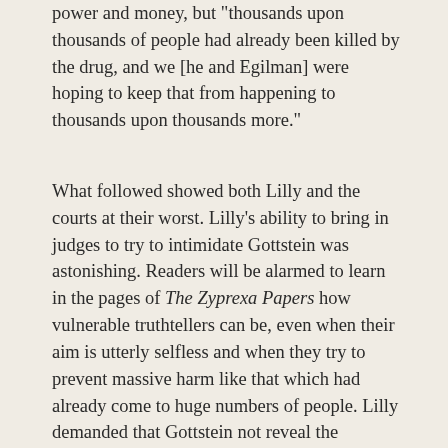power and money, but "thousands upon thousands of people had already been killed by the drug, and we [he and Egilman] were hoping to keep that from happening to thousands upon thousands more."
What followed showed both Lilly and the courts at their worst. Lilly's ability to bring in judges to try to intimidate Gottstein was astonishing. Readers will be alarmed to learn in the pages of The Zyprexa Papers how vulnerable truthtellers can be, even when their aim is utterly selfless and when they try to prevent massive harm like that which had already come to huge numbers of people. Lilly demanded that Gottstein not reveal the documents to anyone and that he immediately retrieve them from everyone to whom he had sent them and take them down from anywhere he had posted them. By then, some of his recipients had sent them on to still others, and some physicians